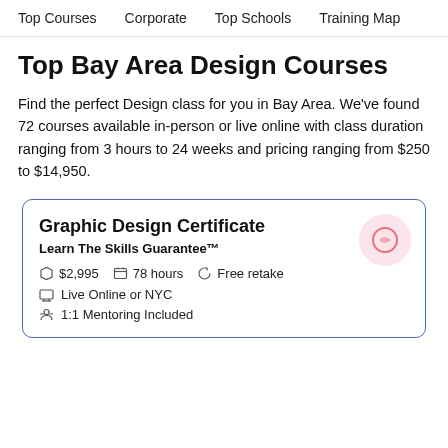Top Courses    Corporate    Top Schools    Training Map
Top Bay Area Design Courses
Find the perfect Design class for you in Bay Area. We've found 72 courses available in-person or live online with class duration ranging from 3 hours to 24 weeks and pricing ranging from $250 to $14,950.
Graphic Design Certificate
Learn The Skills Guarantee™
$2,995   78 hours   Free retake
Live Online or NYC
1:1 Mentoring Included